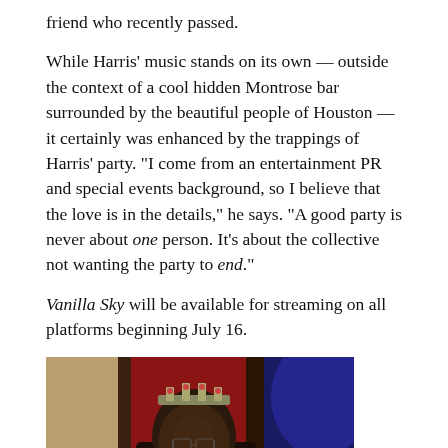friend who recently passed.
While Harris' music stands on its own — outside the context of a cool hidden Montrose bar surrounded by the beautiful people of Houston — it certainly was enhanced by the trappings of Harris' party. "I come from an entertainment PR and special events background, so I believe that the love is in the details," he says. "A good party is never about one person. It's about the collective not wanting the party to end."
Vanilla Sky will be available for streaming on all platforms beginning July 16.
[Figure (photo): A man wearing a crown/tiara-like headpiece photographed at what appears to be a bar or club with red and blue lighting in the background.]